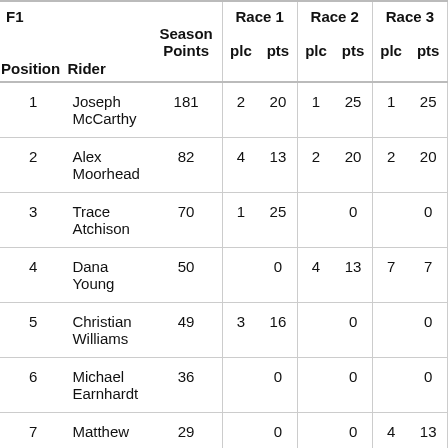| Position | Rider | Season Points | Race 1 plc | Race 1 pts | Race 2 plc | Race 2 pts | Race 3 plc | Race 3 pts |
| --- | --- | --- | --- | --- | --- | --- | --- | --- |
| 1 | Joseph McCarthy | 181 | 2 | 20 | 1 | 25 | 1 | 25 |
| 2 | Alex Moorhead | 82 | 4 | 13 | 2 | 20 | 2 | 20 |
| 3 | Trace Atchison | 70 | 1 | 25 |  | 0 |  | 0 |
| 4 | Dana Young | 50 |  | 0 | 4 | 13 | 7 | 7 |
| 5 | Christian Williams | 49 | 3 | 16 |  | 0 |  | 0 |
| 6 | Michael Earnhardt | 36 |  | 0 |  | 0 |  | 0 |
| 7 | Matthew | 29 |  | 0 |  | 0 | 4 | 13 |